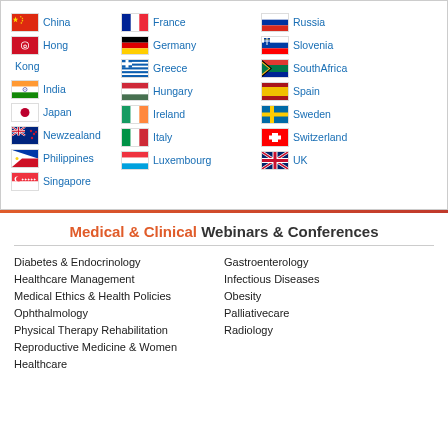[Figure (infographic): Grid of country flags with names: China, Hong Kong, India, Japan, New Zealand, Philippines, Singapore (left column); France, Germany, Greece, Hungary, Ireland, Italy, Luxembourg (middle column); Russia, Slovenia, South Africa, Spain, Sweden, Switzerland, UK (right column)]
Medical & Clinical Webinars & Conferences
Diabetes & Endocrinology
Healthcare Management
Medical Ethics & Health Policies
Ophthalmology
Physical Therapy Rehabilitation
Reproductive Medicine & Women Healthcare
Gastroenterology
Infectious Diseases
Obesity
Palliativecare
Radiology